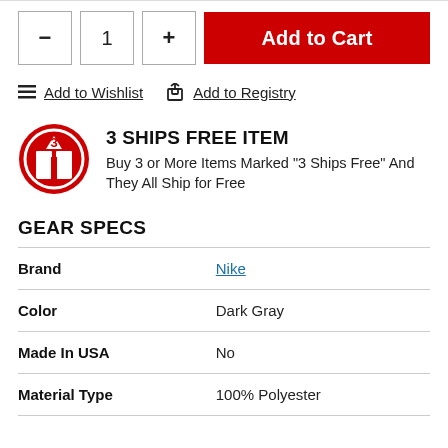— 1 + | Add to Cart
Add to Wishlist | Add to Registry
3 SHIPS FREE ITEM — Buy 3 or More Items Marked "3 Ships Free" And They All Ship for Free
GEAR SPECS
|  |  |
| --- | --- |
| Brand | Nike |
| Color | Dark Gray |
| Made In USA | No |
| Material Type | 100% Polyester |